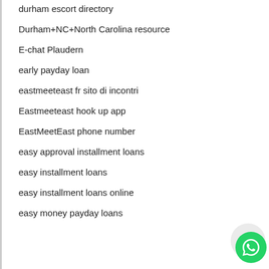durham escort directory
Durham+NC+North Carolina resource
E-chat Plaudern
early payday loan
eastmeeteast fr sito di incontri
Eastmeeteast hook up app
EastMeetEast phone number
easy approval installment loans
easy installment loans
easy installment loans online
easy money payday loans